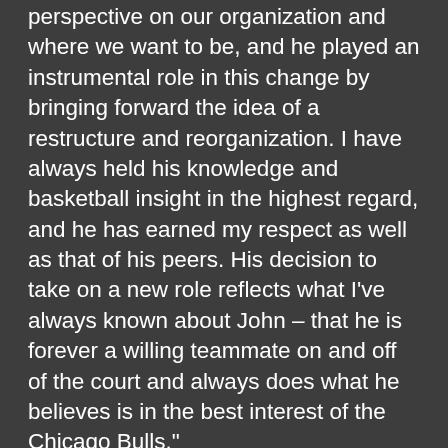perspective on our organization and where we want to be, and he played an instrumental role in this change by bringing forward the idea of a restructure and reorganization. I have always held his knowledge and basketball insight in the highest regard, and he has earned my respect as well as that of his peers. His decision to take on a new role reflects what I've always known about John – that he is forever a willing teammate on and off of the court and always does what he believes is in the best interest of the Chicago Bulls."
JOHN PAXSON: "When I came here in 1985, I never imagined what the Chicago Bulls would mean to me more than 35 years later. While I'm in a new role and a new phase in my life, what won't ever change is my commitment to the Bulls and appreciation to Jerry and Michael for the incredible opportunities I've been afforded. I've had the rare opportunity to see this team as a player, broadcaster and executive, and at every turn I've been fortunate to experience what makes this organization so special - people who give their best